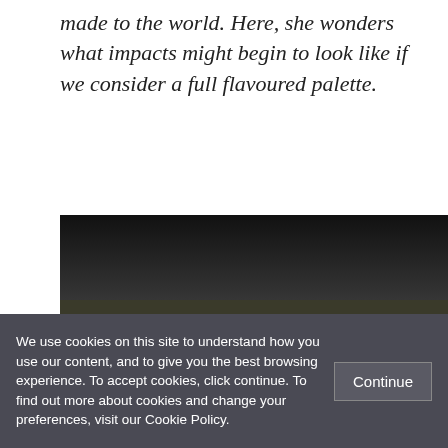made to the world. Here, she wonders what impacts might begin to look like if we consider a full flavoured palette.
[Figure (photo): Photo of a gelato display case showing multiple flavours of scooped gelato in various colours including yellow, pink, green, and white with small label signs.]
We use cookies on this site to understand how you use our content, and to give you the best browsing experience. To accept cookies, click continue. To find out more about cookies and change your preferences, visit our Cookie Policy.